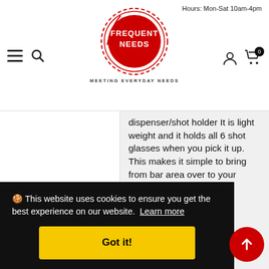Hours: Mon-Sat 10am-4pm
[Figure (logo): Frequent Needs logo — red circle with concentric ring decoration, white text reading FREQUENT NEEDS, tagline MEETING EVERYDAY NEEDS]
dispenser/shot holder It is light weight and it holds all 6 shot glasses when you pick it up. This makes it simple to bring from bar area over to your friends.
HOW DOES IT WORK?
Now for the pouring. We ... asn't ... his ... ot ... ne... f
🍪 This website uses cookies to ensure you get the best experience on our website. Learn more
Got it!